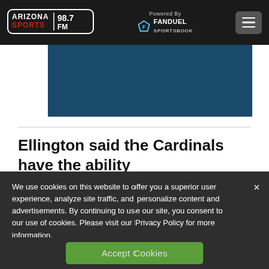ARIZONA SPORTS 98.7 FM — Powered By FANDUEL SPORTSBOOK
[Figure (other): Dark blue rectangular banner/image area]
Ellington said the Cardinals have the ability
We use cookies on this website to offer you a superior user experience, analyze site traffic, and personalize content and advertisements. By continuing to use our site, you consent to our use of cookies. Please visit our Privacy Policy for more information.
Accept Cookies